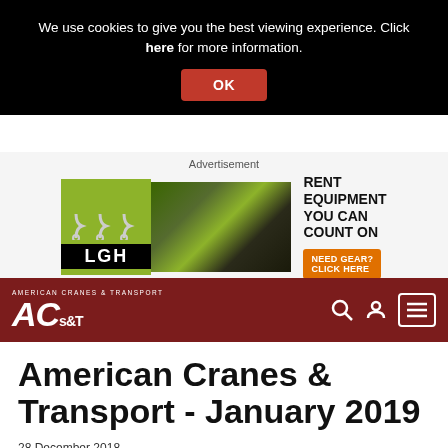We use cookies to give you the best viewing experience. Click here for more information.
OK
[Figure (infographic): LGH equipment rental advertisement with logo, crane photo, headline RENT EQUIPMENT YOU CAN COUNT ON, and orange NEED GEAR? CLICK HERE button]
[Figure (logo): American Cranes & Transport (ACT) navigation bar with logo, search icon, user icon, and menu icon on dark red background]
American Cranes & Transport - January 2019
28 December 2018
1 min read